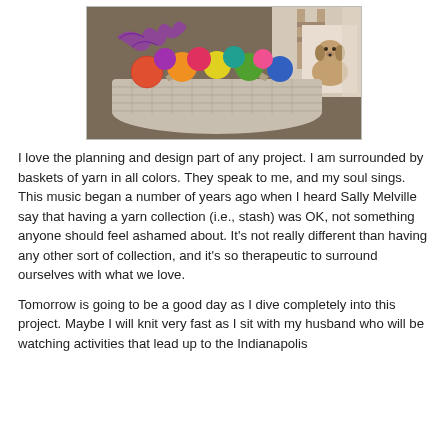[Figure (photo): A white wicker basket filled with colorful balls of yarn in various hues (red, orange, yellow, green, blue, purple, pink), with knitted fabric items. Behind the basket is a decorative bag or canvas featuring an illustration of a small dog.]
I love the planning and design part of any project. I am surrounded by baskets of yarn in all colors. They speak to me, and my soul sings. This music began a number of years ago when I heard Sally Melville say that having a yarn collection (i.e., stash) was OK, not something anyone should feel ashamed about. It's not really different than having any other sort of collection, and it's so therapeutic to surround ourselves with what we love.
Tomorrow is going to be a good day as I dive completely into this project. Maybe I will knit very fast as I sit with my husband who will be watching activities that lead up to the Indianapolis